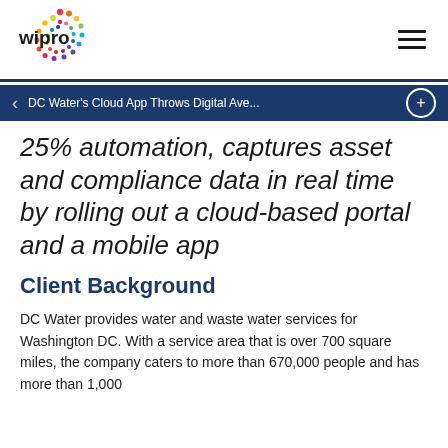wipro [logo] [hamburger menu]
DC Water's Cloud App Throws Digital Ave...
25% automation, captures asset and compliance data in real time by rolling out a cloud-based portal and a mobile app
Client Background
DC Water provides water and waste water services for Washington DC. With a service area that is over 700 square miles, the company caters to more than 670,000 people and has more than 1,000